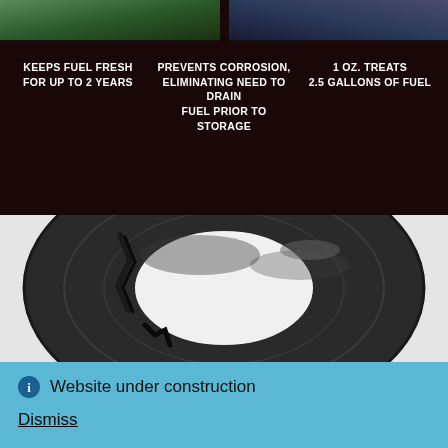[Figure (photo): Top banner with dark brown/black background showing partial product images at top, and three feature text blocks: 'KEEPS FUEL FRESH FOR UP TO 2 YEARS', 'PREVENTS CORROSION, ELIMINATING NEED TO DRAIN FUEL PRIOR TO STORAGE', '1 OZ. TREATS 2.5 GALLONS OF FUEL']
KEEPS FUEL FRESH FOR UP TO 2 YEARS
PREVENTS CORROSION, ELIMINATING NEED TO DRAIN FUEL PRIOR TO STORAGE
1 OZ. TREATS 2.5 GALLONS OF FUEL
[Figure (photo): Close-up photo of a degraded black rubber gasket or seal ring component, showing cracking and deterioration, on white background]
Website under construction
Dismiss